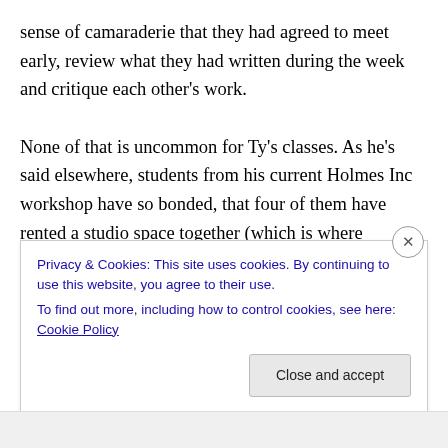sense of camaraderie that they had agreed to meet early, review what they had written during the week and critique each other's work.

None of that is uncommon for Ty's classes. As he's said elsewhere, students from his current Holmes Inc workshop have so bonded, that four of them have rented a studio space together (which is where Bootcamp will be based), and many others have asked to be a part of it. I said jokingly that everyone is hoping for a clubhouse to be a part of it, and several agreed with me that this was exactly
Privacy & Cookies: This site uses cookies. By continuing to use this website, you agree to their use.
To find out more, including how to control cookies, see here: Cookie Policy